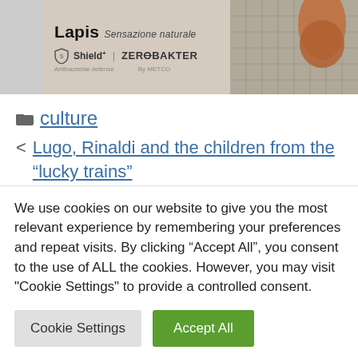[Figure (photo): Advertisement banner for 'Lapis Sensazione naturale' product with Shield+ and ZeroBakter logos, and a hand touching a tiled surface on the right side]
culture
< Lugo, Rinaldi and the children from the "lucky trains"
> 2-year-old boy with pubic hair and other signs of puberty due to father's testosterone
We use cookies on our website to give you the most relevant experience by remembering your preferences and repeat visits. By clicking "Accept All", you consent to the use of ALL the cookies. However, you may visit "Cookie Settings" to provide a controlled consent.